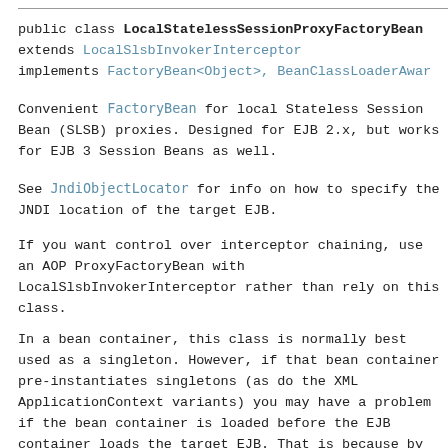public class LocalStatelessSessionProxyFactoryBean extends LocalSlsbInvokerInterceptor implements FactoryBean<Object>, BeanClassLoaderAwar...
Convenient FactoryBean for local Stateless Session Bean (SLSB) proxies. Designed for EJB 2.x, but works for EJB 3 Session Beans as well.
See JndiObjectLocator for info on how to specify the JNDI location of the target EJB.
If you want control over interceptor chaining, use an AOP ProxyFactoryBean with LocalSlsbInvokerInterceptor rather than rely on this class.
In a bean container, this class is normally best used as a singleton. However, if that bean container pre-instantiates singletons (as do the XML ApplicationContext variants) you may have a problem if the bean container is loaded before the EJB container loads the target EJB. That is because by default the JNDI lookup will be performed in the init method of this...